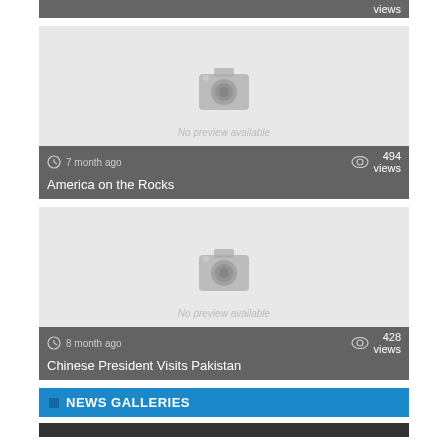views
[Figure (screenshot): News article card for 'America on the Rocks' with no preview image available, showing 7 month ago timestamp and 494 views]
7 month ago
494 views
America on the Rocks
[Figure (screenshot): News article card for 'Chinese President Visits Pakistan' with no preview image available, showing 8 month ago timestamp and 428 views]
8 month ago
428 views
Chinese President Visits Pakistan
NEWS GALLERIES